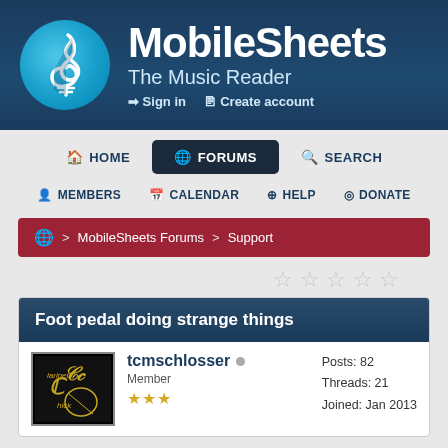[Figure (screenshot): MobileSheets website header with logo (treble clef in blue circle), site name 'MobileSheets', tagline 'The Music Reader', and sign in/create account links]
HOME | FORUMS | SEARCH | MEMBERS | CALENDAR | HELP | DONATE
MobileSheets Forums > Support
Foot pedal doing strange things
tcmschlosser  Member  Posts: 82  Threads: 21  Joined: Jan 2013